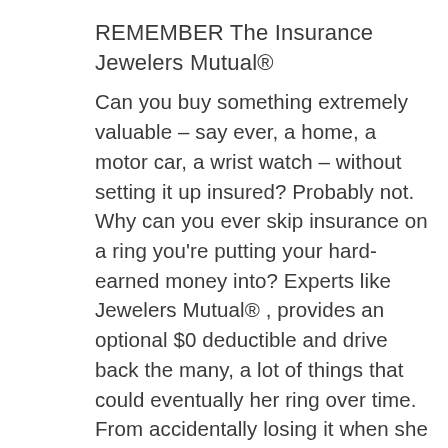REMEMBER The Insurance Jewelers Mutual®
Can you buy something extremely valuable – say ever, a home, a motor car, a wrist watch – without setting it up insured? Probably not. Why can you ever skip insurance on a ring you're putting your hard-earned money into? Experts like Jewelers Mutual® , provides an optional $0 deductible and drive back the many, a lot of things that could eventually her ring over time. From accidentally losing it when she takes it off for whatever reason, to the diamond falling out while you're on vacation, unfortunate accidents happen. But with insurance from Jewelers Mutual, she –